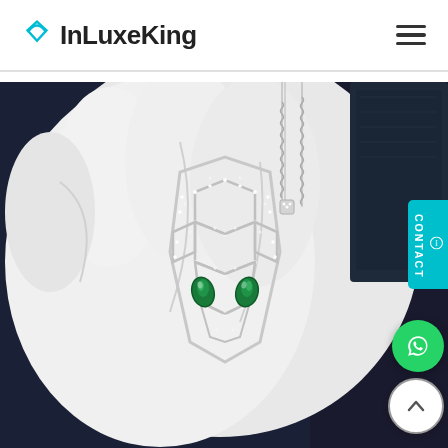InLuxeKing
[Figure (photo): Close-up product photo of a luxury diamond and emerald serpent pendant necklace held in white-gloved hands, set against a dark navy velvet background. The pendant features an ornate geometric open-work design with emerald green teardrop stones representing eyes.]
CONTACT
[Figure (logo): WhatsApp logo button (green circle with white phone handset)]
[Figure (other): Scroll-to-top button (white circle with upward chevron arrow)]